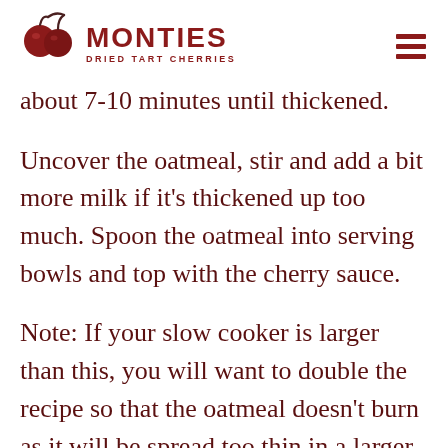MONTIES DRIED TART CHERRIES
about 7-10 minutes until thickened.
Uncover the oatmeal, stir and add a bit more milk if it's thickened up too much. Spoon the oatmeal into serving bowls and top with the cherry sauce.
Note: If your slow cooker is larger than this, you will want to double the recipe so that the oatmeal doesn't burn as it will be spread too thin in a larger slow cooker.